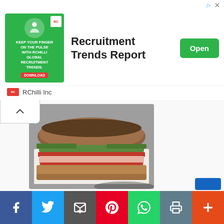[Figure (infographic): Advertisement banner for RChilli Inc - Recruitment Trends Report with green box logo, illustrated figures, and Open button]
[Figure (photo): Close-up photo of a layered sandwich with green leaves, red tomato sauce, meat and cheese on toasted bread placed on white paper]
JJ's Grill Menu & Prices Updated
Leave a Comment / I, Menu
[Figure (infographic): Social media sharing bar with Facebook, Twitter, Email, Pinterest, WhatsApp, Print, and More buttons]